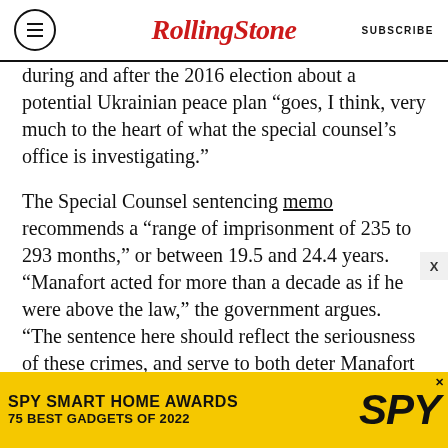Rolling Stone | SUBSCRIBE
during and after the 2016 election about a potential Ukrainian peace plan “goes, I think, very much to the heart of what the special counsel’s office is investigating.”
The Special Counsel sentencing memo recommends a “range of imprisonment of 235 to 293 months,” or between 19.5 and 24.4 years. “Manafort acted for more than a decade as if he were above the law,” the government argues. “The sentence here should reflect the seriousness of these crimes, and serve to both deter Manafort and others from engaging in such conduct.”
The sentencing memo is scathing, in parts.
[Figure (other): SPY Smart Home Awards advertisement banner with yellow background, text '75 Best Gadgets of 2022' and SPY logo in italic bold black.]